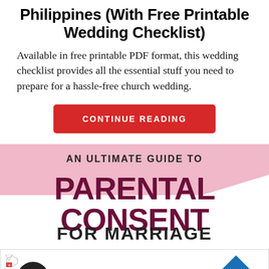Philippines (With Free Printable Wedding Checklist)
Available in free printable PDF format, this wedding checklist provides all the essential stuff you need to prepare for a hassle-free church wedding.
CONTINUE READING
[Figure (infographic): An infographic with pink diagonal background banner. Text reads: AN ULTIMATE GUIDE TO PARENTAL CONSENT FOR MARRIAGE]
[Figure (screenshot): Advertisement block with two icons (circular black icon with infinity/link symbol on left, blue diamond arrow icon on right) and text: Back To School Essentials / Leesburg Premium Outlets]